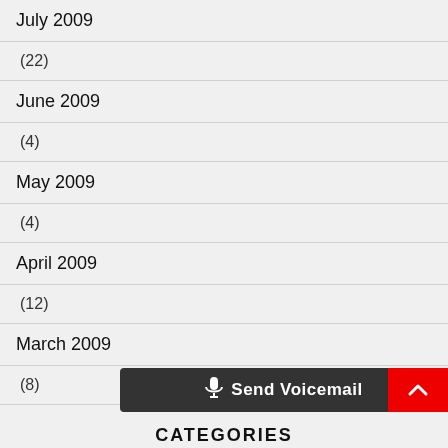July 2009
(22)
June 2009
(4)
May 2009
(4)
April 2009
(12)
March 2009
(8)
CATEGORIES
Send Voicemail